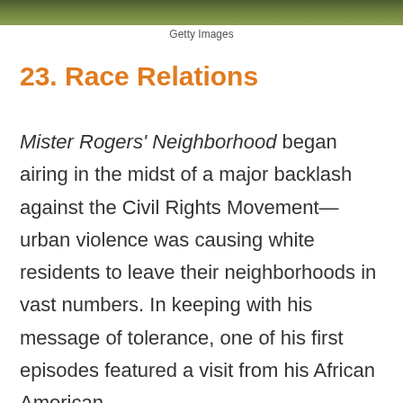[Figure (photo): Top strip showing blurred outdoor greenery/foliage background image]
Getty Images
23. Race Relations
Mister Rogers' Neighborhood began airing in the midst of a major backlash against the Civil Rights Movement—urban violence was causing white residents to leave their neighborhoods in vast numbers. In keeping with his message of tolerance, one of his first episodes featured a visit from his African American